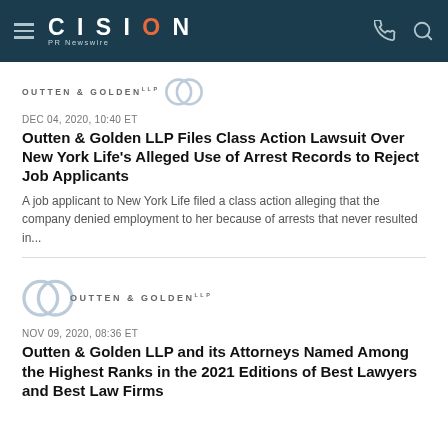CISION PR Newswire
[Figure (logo): Outten & Golden LLP logo with overlapping circles]
DEC 04, 2020, 10:40 ET
Outten & Golden LLP Files Class Action Lawsuit Over New York Life's Alleged Use of Arrest Records to Reject Job Applicants
A job applicant to New York Life filed a class action alleging that the company denied employment to her because of arrests that never resulted in...
[Figure (logo): Outten & Golden LLP logo with overlapping circles]
NOV 09, 2020, 08:36 ET
Outten & Golden LLP and its Attorneys Named Among the Highest Ranks in the 2021 Editions of Best Lawyers and Best Law Firms